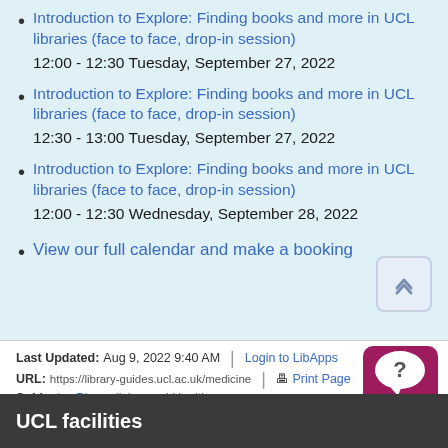Introduction to Explore: Finding books and more in UCL libraries (face to face, drop-in session)
12:00 - 12:30 Tuesday, September 27, 2022
Introduction to Explore: Finding books and more in UCL libraries (face to face, drop-in session)
12:30 - 13:00 Tuesday, September 27, 2022
Introduction to Explore: Finding books and more in UCL libraries (face to face, drop-in session)
12:00 - 12:30 Wednesday, September 28, 2022
View our full calendar and make a booking
Last Updated: Aug 9, 2022 9:40 AM | Login to LibApps
URL: https://library-guides.ucl.ac.uk/medicine | Print Page
Subjects: Biomedicine and Health
UCL facilities